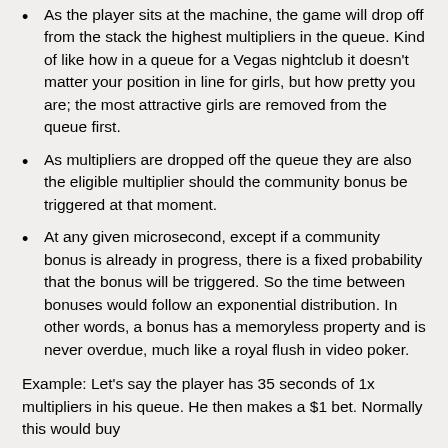As the player sits at the machine, the game will drop off from the stack the highest multipliers in the queue. Kind of like how in a queue for a Vegas nightclub it doesn't matter your position in line for girls, but how pretty you are; the most attractive girls are removed from the queue first.
As multipliers are dropped off the queue they are also the eligible multiplier should the community bonus be triggered at that moment.
At any given microsecond, except if a community bonus is already in progress, there is a fixed probability that the bonus will be triggered. So the time between bonuses would follow an exponential distribution. In other words, a bonus has a memoryless property and is never overdue, much like a royal flush in video poker.
Example: Let's say the player has 35 seconds of 1x multipliers in his queue. He then makes a $1 bet. Normally this would buy